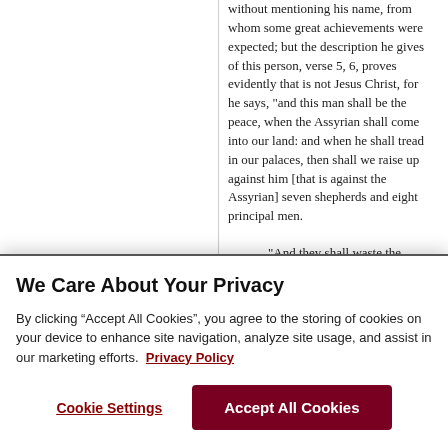without mentioning his name, from whom some great achievements were expected; but the description he gives of this person, verse 5, 6, proves evidently that is not Jesus Christ, for he says, "and this man shall be the peace, when the Assyrian shall come into our land: and when he shall tread in our palaces, then shall we raise up against him [that is against the Assyrian] seven shepherds and eight principal men.
"And they shall waste the land of Assyria with the sword, and the land of Nimrod on the entrance thereof; thus shall he deliver us from the Assyrian,
We Care About Your Privacy
By clicking “Accept All Cookies”, you agree to the storing of cookies on your device to enhance site navigation, analyze site usage, and assist in our marketing efforts. Privacy Policy
Cookie Settings
Accept All Cookies